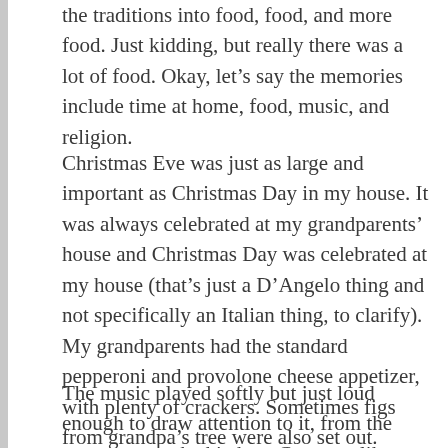the traditions into food, food, and more food. Just kidding, but really there was a lot of food. Okay, let's say the memories include time at home, food, music, and religion.
Christmas Eve was just as large and important as Christmas Day in my house. It was always celebrated at my grandparents' house and Christmas Day was celebrated at my house (that's just a D'Angelo thing and not specifically an Italian thing, to clarify). My grandparents had the standard pepperoni and provolone cheese appetizer, with plenty of crackers. Sometimes figs from grandpa's tree were also set out. Always a variety of nuts as well. A random but delicious and light mix for apps.
The music played softly but just loud enough to draw attention to it, from the room next to the kitchen. Crooners like Dean Martin and Frank Sinatra were only a few of the many voices I heard as a child. I also loved when the